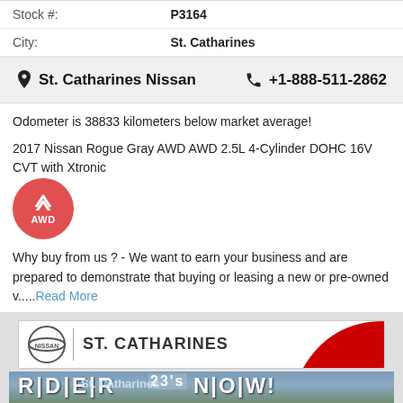| Stock #: | P3164 |
| City: | St. Catharines |
St. Catharines Nissan   +1-888-511-2862
Odometer is 38833 kilometers below market average!
2017 Nissan Rogue Gray AWD AWD 2.5L 4-Cylinder DOHC 16V CVT with Xtronic
[Figure (infographic): Red circular AWD badge with upward chevron arrow icon and 'AWD' label]
Why buy from us ? - We want to earn your business and are prepared to demonstrate that buying or leasing a new or pre-owned v.....Read More
[Figure (photo): St. Catharines Nissan dealership exterior photo with Nissan logo, red swoosh banner, and storefront signage reading 'St. Catharines' and 'RIDE R23's NOW!']